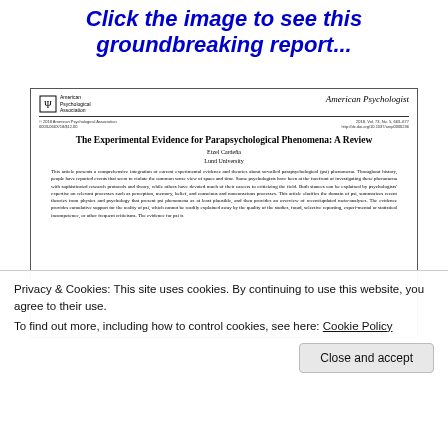Click the image to see this groundbreaking report...
[Figure (screenshot): Screenshot of academic journal article: 'The Experimental Evidence for Parapsychological Phenomena: A Review' by Etzel Cardeña, Lund University. Published in American Psychological Association journal 'American Psychologist'. Shows article title, author, abstract text.]
Privacy & Cookies: This site uses cookies. By continuing to use this website, you agree to their use.
To find out more, including how to control cookies, see here: Cookie Policy
Close and accept